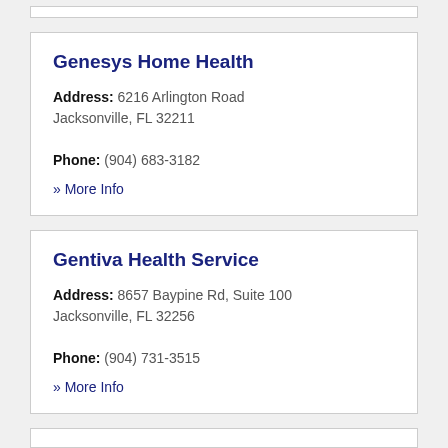Genesys Home Health
Address: 6216 Arlington Road Jacksonville, FL 32211
Phone: (904) 683-3182
» More Info
Gentiva Health Service
Address: 8657 Baypine Rd, Suite 100 Jacksonville, FL 32256
Phone: (904) 731-3515
» More Info